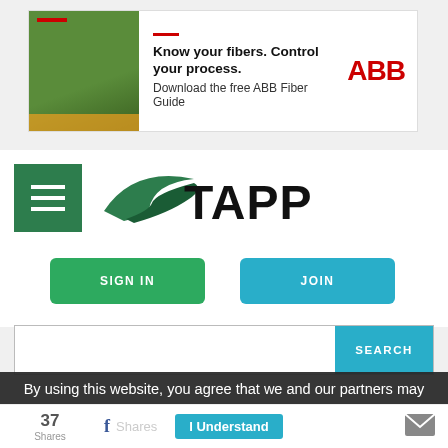[Figure (infographic): ABB advertisement banner: 'Know your fibers. Control your process. Download the free ABB Fiber Guide' with ABB logo in red]
[Figure (logo): TAPPI organization logo with green swoosh and bold black TAPPI text, next to a green hamburger menu icon]
SIGN IN
JOIN
SEARCH
By using this website, you agree that we and our partners may set cookies for purposes such as customising content and advertising. Learn More.
I Understand
37 Shares